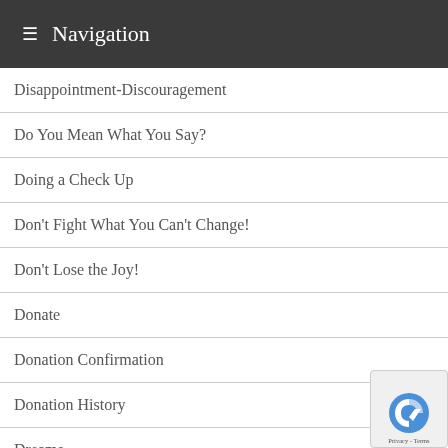≡ Navigation
Disappointment-Discouragement
Do You Mean What You Say?
Doing a Check Up
Don't Fight What You Can't Change!
Don't Lose the Joy!
Donate
Donation Confirmation
Donation History
Dreams